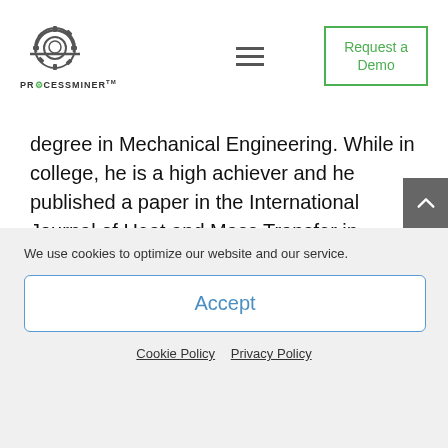[Figure (logo): ProcessMiner logo: gear/helmet icon above text PROCESSMINER]
degree in Mechanical Engineering. While in college, he is a high achiever and he published a paper in the International Journal of Heat and Mass Transfer in March 2014 under his Professor's guidance. While working at Ericsson, he won the ACE Award which is given to
We use cookies to optimize our website and our service.
Accept
Cookie Policy   Privacy Policy